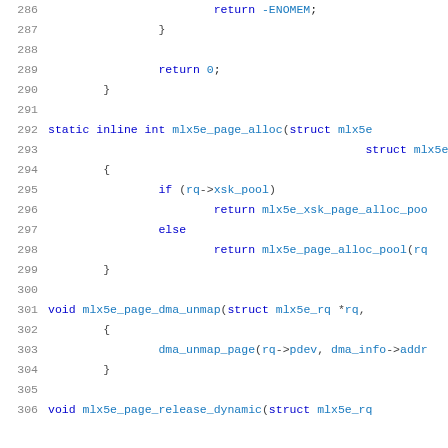Source code listing, lines 286-306, C kernel code for mlx5e page allocation and DMA functions.